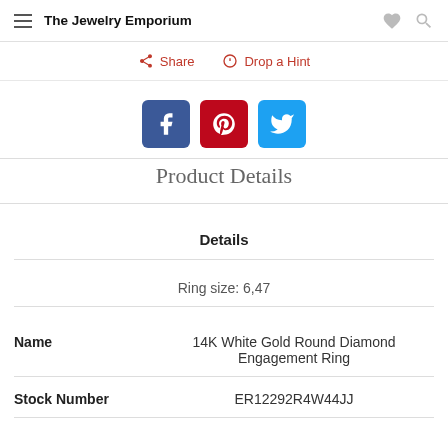The Jewelry Emporium
Share  Drop a Hint
[Figure (other): Social media icons: Facebook, Pinterest, Twitter]
Product Details
Details
Ring size: 6,47
| Name |  |
| --- | --- |
| Name | 14K White Gold Round Diamond Engagement Ring |
| Stock Number | ER12292R4W44JJ |